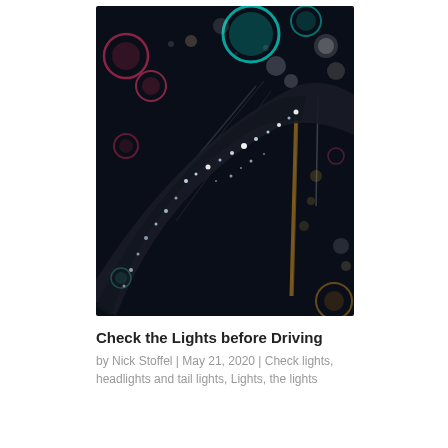[Figure (photo): Nighttime bokeh photograph showing a rain-wet umbrella viewed from above with colorful city lights bokeh in the background — red, cyan/teal, orange, and white circular light blurs against a dark background, with sparkles of light on the umbrella fabric.]
Check the Lights before Driving
by Nick Stoffel | May 21, 2020 | Check lights, headlights and tail lights, Lights, the lights